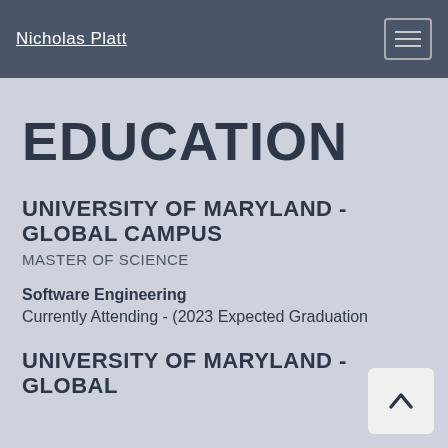Nicholas Platt
EDUCATION
UNIVERSITY OF MARYLAND - GLOBAL CAMPUS
MASTER OF SCIENCE
Software Engineering
Currently Attending - (2023 Expected Graduation
UNIVERSITY OF MARYLAND - GLOBAL